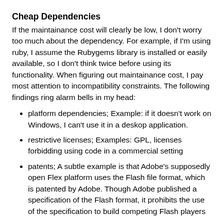Cheap Dependencies
If the maintainance cost will clearly be low, I don't worry too much about the dependency. For example, if I'm using ruby, I assume the Rubygems library is installed or easily available, so I don't think twice before using its functionality. When figuring out maintainance cost, I pay most attention to incompatibility constraints. The following findings ring alarm bells in my head:
platform dependencies; Example: if it doesn't work on Windows, I can't use it in a deskop application.
restrictive licenses; Examples: GPL, licenses forbidding using code in a commercial setting
patents; A subtle example is that Adobe's supposedly open Flex platform uses the Flash file format, which is patented by Adobe. Though Adobe published a specification of the Flash format, it prohibits the use of the specification to build competing Flash players